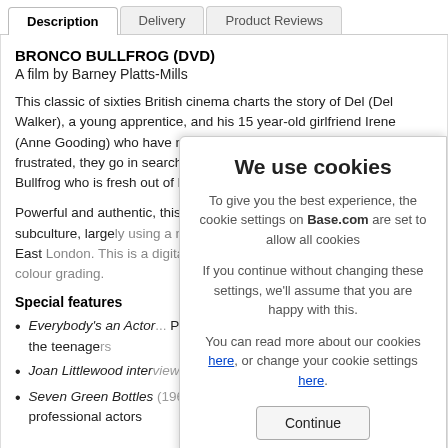Description | Delivery | Product Reviews
BRONCO BULLFROG (DVD)
A film by Barney Platts-Mills
This classic of sixties British cinema charts the story of Del (Del Walker), a young apprentice, and his 15 year-old girlfriend Irene (Anne Gooding) who have no money and nowhere to go. Angry and frustrated, they go in search of fun and freedom and turn to Bronco Bullfrog who is fresh out of borstal and living an independent lifestyle.
Powerful and authentic, this ... suedehead subculture, large... cast of teenagers from East ... remastered presentation with...
Special features
Everybody's an Actor... Platts-Mills document... work with the teenage...
Joan Littlewood interv... and outspoken theatre...
Seven Green Bottles... cautionary tale of sev... professional actors
[Figure (screenshot): Cookie consent dialog overlay on bottom-right of page. Title: 'We use cookies'. Text: 'To give you the best experience, the cookie settings on Base.com are set to allow all cookies. If you continue without changing these settings, we'll assume that you are happy with this. You can read more about our cookies here, or change your cookie settings here.' Button: 'Continue']